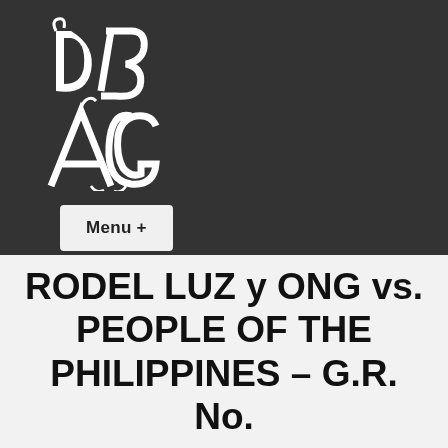[Figure (logo): Gothic/blackletter style monogram logo with letters in a 2x2 arrangement on dark background]
Menu +
RODEL LUZ y ONG vs. PEOPLE OF THE PHILIPPINES – G.R. No.